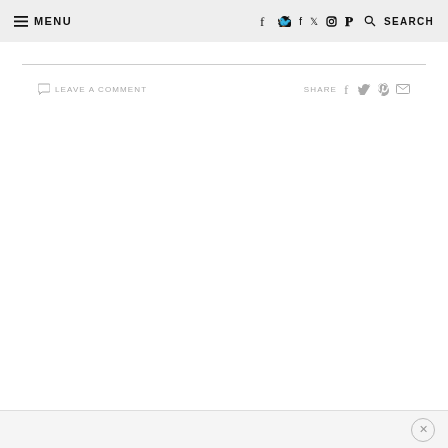≡ MENU   f  𝕏  ◻  𝐏  🔍 SEARCH
💬 LEAVE A COMMENT    SHARE  f  𝕏  𝐏  ✉
✕